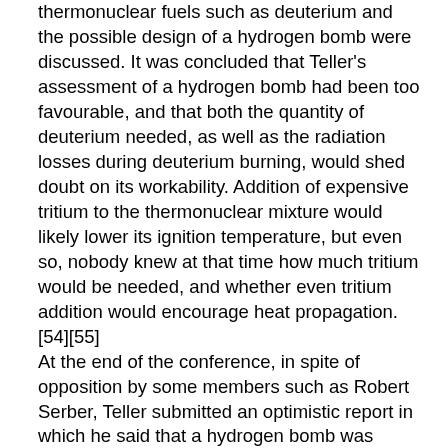thermonuclear fuels such as deuterium and the possible design of a hydrogen bomb were discussed. It was concluded that Teller's assessment of a hydrogen bomb had been too favourable, and that both the quantity of deuterium needed, as well as the radiation losses during deuterium burning, would shed doubt on its workability. Addition of expensive tritium to the thermonuclear mixture would likely lower its ignition temperature, but even so, nobody knew at that time how much tritium would be needed, and whether even tritium addition would encourage heat propagation.[54][55] At the end of the conference, in spite of opposition by some members such as Robert Serber, Teller submitted an optimistic report in which he said that a hydrogen bomb was feasible, and that further work should be encouraged on its development. Fuchs also participated in this conference, and transmitted this information to Moscow. With John von Neumann, he contributed an idea of using implosion to ignite the Super. The model of Teller's